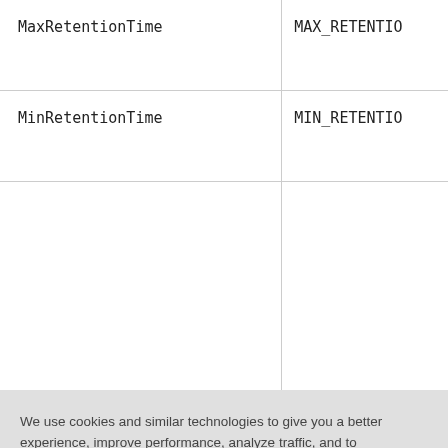| Parameter | Constant |
| --- | --- |
| MaxRetentionTime | MAX_RETENTIO... |
| MinRetentionTime | MIN_RETENTIO... |
|  |  |
We use cookies and similar technologies to give you a better experience, improve performance, analyze traffic, and to personalize content. By continuing to browse this website you agree to the use of cookies. For more information on how this website uses cookies, please select “Privacy Policy.” To opt-out of cookies, please select “More Information.”
Accept Cookies
More Information
Privacy Policy | Powered by: TrustArc